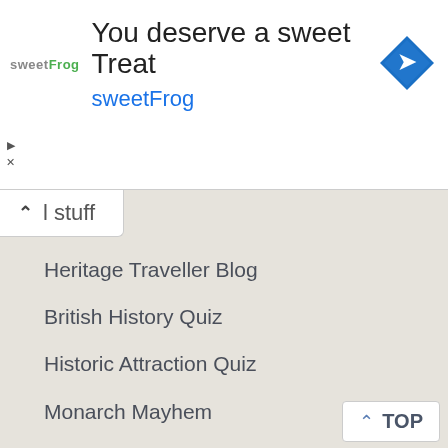[Figure (screenshot): SweetFrog advertisement banner with logo, headline 'You deserve a sweet Treat', brand name 'sweetFrog', and a blue navigation arrow icon]
l stuff
Heritage Traveller Blog
British History Quiz
Historic Attraction Quiz
Monarch Mayhem
This Day in British History
Useful stuff
Contact Us
Privacy
About Britain Express